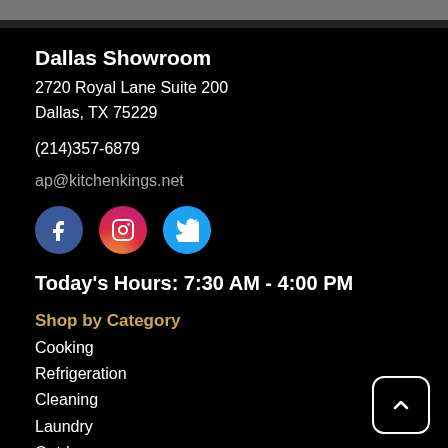Dallas Showroom
2720 Royal Lane Suite 200
Dallas, TX 75229
(214)357-6879
ap@kitchenkings.net
[Figure (illustration): Three social media icons: Facebook (blue circle with f), Instagram (gradient circle with camera icon), Twitter (light blue circle with bird icon)]
Today's Hours: 7:30 AM - 4:00 PM
Shop by Category
Cooking
Refrigeration
Cleaning
Laundry
Outdoor
Customer Service